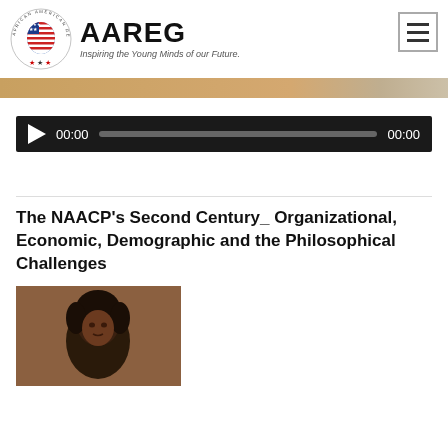[Figure (logo): AAREG - African American Registry logo with Africa continent icon and three stars. Tagline: Inspiring the Young Minds of our Future.]
[Figure (screenshot): Audio player bar with play button, 00:00 timestamp, progress bar, and 00:00 end timestamp on dark background]
The NAACP's Second Century_ Organizational, Economic, Demographic and the Philosophical Challenges
[Figure (photo): Partial portrait photo of a person with dark hair against brown background]